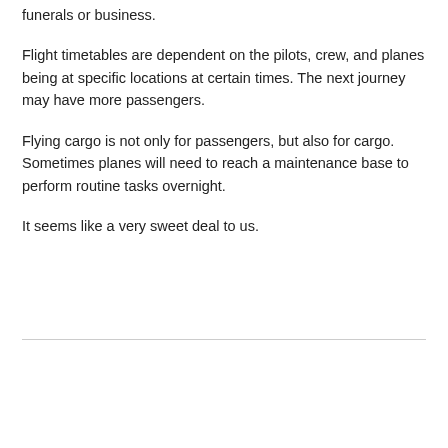funerals or business.
Flight timetables are dependent on the pilots, crew, and planes being at specific locations at certain times. The next journey may have more passengers.
Flying cargo is not only for passengers, but also for cargo. Sometimes planes will need to reach a maintenance base to perform routine tasks overnight.
It seems like a very sweet deal to us.